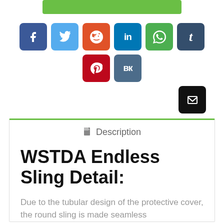[Figure (other): Green button/bar at top of page]
[Figure (other): Row of social media share buttons: Facebook, Twitter, Reddit, LinkedIn, WhatsApp, Tumblr, Pinterest, VKontakte, and Email]
Description
WSTDA Endless Sling Detail:
Due to the tubular design of the protective cover, the round sling is made seamless